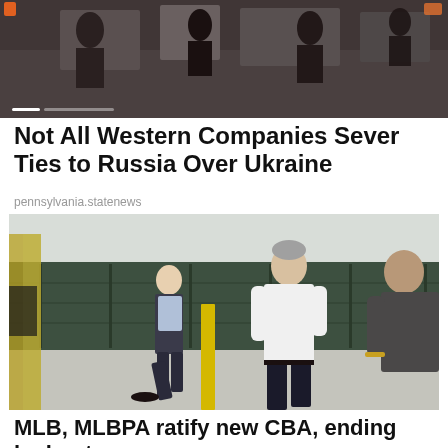[Figure (photo): Top banner photo showing people in a crowd or audience setting, dark toned image]
Not All Western Companies Sever Ties to Russia Over Ukraine
pennsylvania.statenews
[Figure (photo): Outdoor photo of a man in a white polo shirt (grey hair) walking, with a man in dark suit walking behind him to the left, and another man partially visible on the right edge. Green wall panels and a yellow post visible in background.]
MLB, MLBPA ratify new CBA, ending lockout